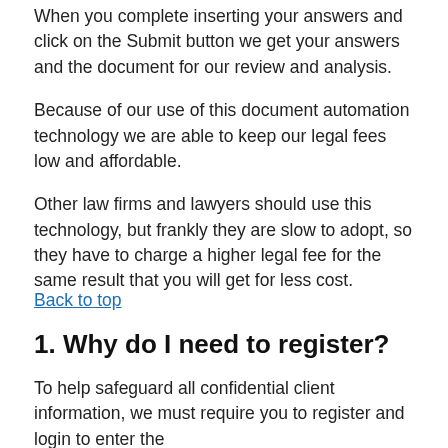When you complete inserting your answers and click on the Submit button we get your answers and the document for our review and analysis.
Because of our use of this document automation technology we are able to keep our legal fees low and affordable.
Other law firms and lawyers should use this technology, but frankly they are slow to adopt, so they have to charge a higher legal fee for the same result that you will get for less cost.
Back to top
1. Why do I need to register?
To help safeguard all confidential client information, we must require you to register and login to enter the